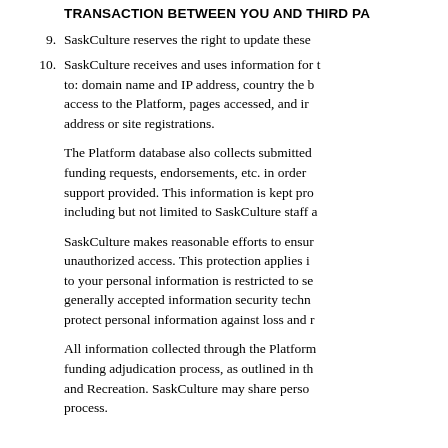TRANSACTION BETWEEN YOU AND THIRD PA
9. SaskCulture reserves the right to update these
10. SaskCulture receives and uses information for to: domain name and IP address, country the b access to the Platform, pages accessed, and ir address or site registrations.
The Platform database also collects submitted funding requests, endorsements, etc. in order support provided. This information is kept pro including but not limited to SaskCulture staff a
SaskCulture makes reasonable efforts to ensur unauthorized access. This protection applies i to your personal information is restricted to sel generally accepted information security techn protect personal information against loss and r
All information collected through the Platform funding adjudication process, as outlined in th and Recreation. SaskCulture may share perso process.